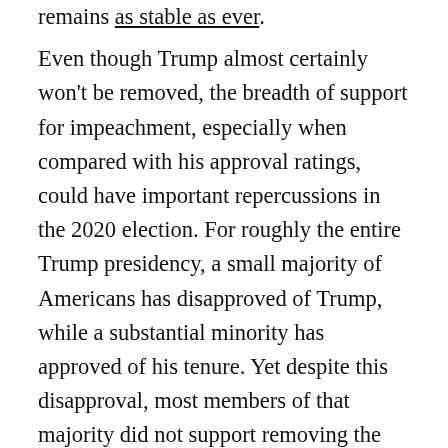remains as stable as ever.
Even though Trump almost certainly won't be removed, the breadth of support for impeachment, especially when compared with his approval ratings, could have important repercussions in the 2020 election. For roughly the entire Trump presidency, a small majority of Americans has disapproved of Trump, while a substantial minority has approved of his tenure. Yet despite this disapproval, most members of that majority did not support removing the president.
That changed in late September, as the Ukraine scandal metastasized and House Speaker Nancy Pelosi launched an impeachment inquiry. Suddenly,